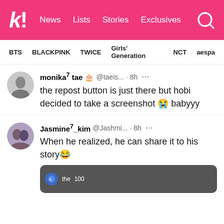K! News Lists Stories Exclusives
BTS BLACKPINK TWICE Girls' Generation NCT aespa
monika⁷ tae 🎂 @taeis... · 8h ··· the repost button is just there but hobi decided to take a screenshot 😭 babyyy
Jasmine⁷_kim @Jashmi... · 8h ··· When he realized, he can share it to his story😂
[Figure (screenshot): Partial embedded screenshot showing a social media story with a small blue avatar circle and text 'the 100']